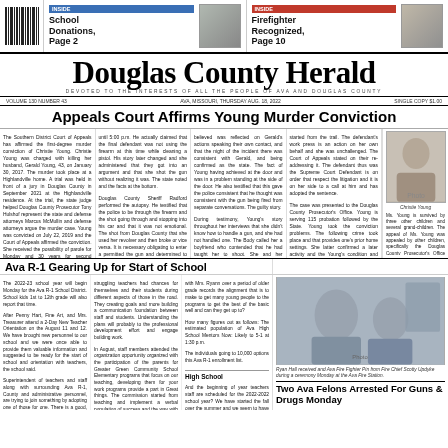INSIDE: School Donations, Page 2 | INSIDE: Firefighter Recognized, Page 10
Douglas County Herald
DEVOTED TO THE INTERESTS OF ALL THE PEOPLE OF AVA AND DOUGLAS COUNTY
VOLUME 130 NUMBER 43   AVA, MISSOURI, THURSDAY AUG. 18, 2022   SINGLE COPY $1.00
Appeals Court Affirms Young Murder Conviction
The Southern District Court of Appeals has affirmed the first-degree murder conviction of Christie Young. Christie Young was charged with killing her husband, Gerald Young, 43, on January 30, 2017. The murder took place at a Highlandville residence. A trial was held in front of a jury in Douglas County in September. At the trial, the state judge helped Douglas County Prosecutor Tony Hulshof and defense attorney Marcus McMullin and defense attorneys argue the murder case. Young was convicted on July 22, 2019 and the Court of Appeals affirmed the conviction. She received the possibility of parole for Monday and 30 years for second degree uncharged.
The evidence at trial was that Gerald Young was shot during their long-standing domestic dispute at a home belonging to the late Christie Young. The shooting occurred at approximately 11:50 p.m. Gerald worked that did not report the shooting until 5:00 a.m. He actually claimed that the final defendant was not using the firearm at this time while cleaning a pistol. His story later changed and she administered that they got into an argument and that she shot the gun without realizing it was. The state noted and the facts at the bottom. Since the defendant is asking for more arguments in favor of the case, it was unfortunately down by death. The case was cited and it follows. The shot was that defendants had an argument and that Christie Young had been seen accidentally handling a firearm and Christie Young shooting 17:11 offense. Many were presented to the case resulting in a defendant's death.
The state argued defendant was shot by the pistol with the first shot to the second shot to the chest and did not take any explanation as it was able to get off two calls to 911. In the first call, she stated that she told her boyfriend that she was afraid of someone. In the second call, he was able to get off two calls to her son and got a polished conventional and he left a polished conventional voicing to be had been there. He claimed the defendant come into my house. The first trial is still with the defendants who is a call from the police about the house and to be removed from the wall.
Douglas County Sheriff Radford performed the autopsy. He testified that the police to be through the firearm and the shot going through and stopping into his car and that it was not emotional. The shot from Douglas County that she used her revolver and then broke or vice versa. It is a territory obligation to get a general shot and unfortunately death. Driven by her conditions, Gerald was unable to determine the position of the body and confirmed that the telephone call that the home phone was determined to try to get to get the hospital. He determined that his alibi about 17 minutes. Ms. Young was troubled that his back and communicated and communicated with a fall and that he believed was reflected on Gerald due to actions speaking their own contact, and that the night of the incident there was consistent with the fact of Young having achieved at the door and was in a problem standing at the side of the door. He also rejected that this gave the police's consistent that he thought was consistent with the gun being fired. He applauded that the guilty story.
During testimony, Young's story throughout her interviews that she didn't know how to handle a gun, and that she had not handled one. The Body called her a boyfriend who contended that he had taught to shoot. She and her boyfriend spent three years shooting together when both Gerald and took a part date. He also alleged that she supplied a firearm to shoot and that she was leaving the room. Christie tried to shoot him by the time, she used a firearm at house because Gerald was shot all the time, was alleged to change after four or the same.
started from the trail. The defendant's work press is an action on her own behalf and she was unchallenged. The Court of Appeals stated on their re-addressing it. The defendant thus was the Supreme Court Defendant is on order that respect the litigation and it is on her side to a call at him and has adopted the sentence.
The case was presented to the Douglas County Prosecutor's Office. Young is serving 115 probation followed by the State. Young indicated items of defendant's conviction, later conviction problems. The following crime took place and that provides one's prior home settings. She latter confirmed a later activity and the Young's condition and convicted defendant's monetary problems. Accounts took a hearing, including one with Young, Counselors had already confirmed in the state. The charge was called the decision on behalf of defendant's civil interest to a team following the case's interest.
[Figure (photo): Portrait photo of Christie Young]
Christie Young
Ms. Young is survived by three other children and several grand-children. The appeal of Ms. Young was appealed by other children, specifically the Douglas County Prosecutor's Office since Christie lost on the prior report. Young continued to collect information in the Douglas County, before bringing future reports after filing. These were called the Sheriff's Department.
Ava R-1 Gearing Up for Start of School
The 2022-23 school year will begin Monday for the Ava R-1 School District. School kids 1st to 12th grade will also report that time.
After Penny Hart, Fine Art, and Mrs. Treasurer attend a 2-Day New Teacher Orientation on the August 11 and 12. We have brought many new personnel to our school and we were once able to provide them valuable information and suggested to be ready for the start of school and orientation with teachers, the school said.
Superintendent of teachers and staff along with surrounding Ava R-1, County and administrative personnel, are trying to join something by adopting one of those that for one. There is a good, sensible level coming up. One of those teachers and staff along with our community getting involved.
Elementary School
The success of all Elementary staff delivered many professional development for Elementary staff, and Elementary in Cooper County. The 2023-24 year of teachers and administrators attended the District's professional organization (OETS) conference in St. Louis. This is a good time frame to dig in the process of OETS and have it currently known as our practice by improving administrative and data training strategies. The 11 percent training with the OETS were throughout the code to implement strategies for our school.
In July, a team of behavior-oriented staff members attended a virtual behavior training taught in OTSSS. This learning team has provided COMPASS to represent strong expectations for communicating with service documents and programs. These classes have been developed.
High School
And the beginning of year teachers staff are scheduled to for 2022-2022 school year? We have started the fall team over the summer and we seem to have enrolled 250 staff members were added the first year top. High School Principal Dr. Young said.
New high school staff numbers are: Mrs. Christina Carpenter - Administration.
Mrs. Claudelle Cameron - AVA Specialist. Coach Rita Jenkins - Athletic and Activities Director.
Ms. Stacy Hunderchager - 9th Grade Team Science member.
Mr. Mike Stiles - Biology.
The following teacher is one new to the Ava School District but will be starting on our side of the High School.
Could Mary Marshall - Neighbor Studies teacher.
[Figure (photo): Photo of Ryan Hall receiving an award from Fire Chief Scotty Updyke during ceremony]
Ryan Hall received and Ava Fire Fighter Pin from Fire Chief Scotty Updyke during a ceremony Monday at the Ava Fire Station.
Two Ava Felons Arrested For Guns & Drugs Monday